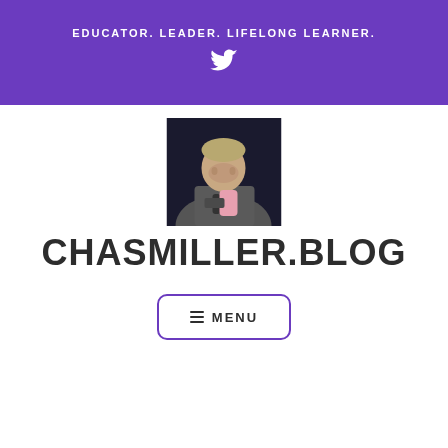EDUCATOR. LEADER. LIFELONG LEARNER.
[Figure (other): Twitter bird icon in white on purple background]
[Figure (photo): Profile photo of a man holding a microphone and a pink object, wearing a grey hoodie, against a dark background]
CHASMILLER.BLOG
≡ MENU